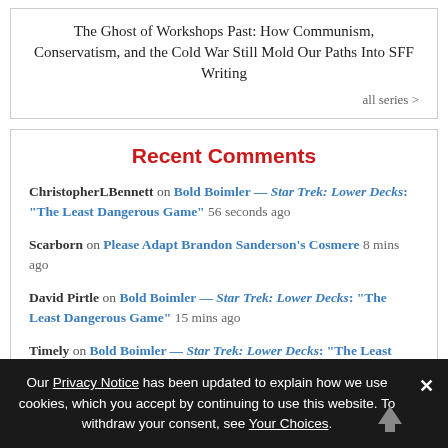The Ghost of Workshops Past: How Communism, Conservatism, and the Cold War Still Mold Our Paths Into SFF Writing
all series >
Recent Comments
ChristopherLBennett on Bold Boimler — Star Trek: Lower Decks: “The Least Dangerous Game” 56 seconds ago
Scarborn on Please Adapt Brandon Sanderson’s Cosmere 8 mins ago
David Pirtle on Bold Boimler — Star Trek: Lower Decks: “The Least Dangerous Game” 15 mins ago
Timely on Bold Boimler — Star Trek: Lower Decks: “The Least Dangerous Game” 17 mins ago
Our Privacy Notice has been updated to explain how we use cookies, which you accept by continuing to use this website. To withdraw your consent, see Your Choices.